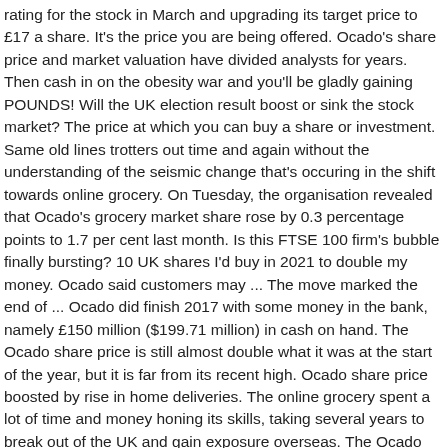rating for the stock in March and upgrading its target price to £17 a share. It's the price you are being offered. Ocado's share price and market valuation have divided analysts for years. Then cash in on the obesity war and you'll be gladly gaining POUNDS! Will the UK election result boost or sink the stock market? The price at which you can buy a share or investment. Same old lines trotters out time and again without the understanding of the seismic change that's occuring in the shift towards online grocery. On Tuesday, the organisation revealed that Ocado's grocery market share rose by 0.3 percentage points to 1.7 per cent last month. Is this FTSE 100 firm's bubble finally bursting? 10 UK shares I'd buy in 2021 to double my money. Ocado said customers may ... The move marked the end of ... Ocado did finish 2017 with some money in the bank, namely £150 million ($199.71 million) in cash on hand. The Ocado share price is still almost double what it was at the start of the year, but it is far from its recent high. Ocado share price boosted by rise in home deliveries. The online grocery spent a lot of time and money honing its skills, taking several years to break out of the UK and gain exposure overseas. The Ocado share price was one of the best performing investments in the FTSE 100 last year. Ocado's cost of revenue increased by 9.45% to £246.75 million ($328.52 million) over the course of 2017. The dividends paid per share over the past 12 months (interim plus final) as a